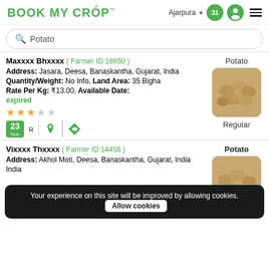BOOK MY CROP — Ajarpura, location, user icon, menu
Potato (search bar)
Maxxxx Bhxxxx ( Farmer ID:18850 ) — Potato
Address: Jasara, Deesa, Banaskantha, Gujarat, India
Quantity/Weight: No Info, Land Area: 35 Bigha
Rate Per Kg: ₹13.00, Available Date:
expired
Rating: 3/5 stars
Date: 23 Nov R
Variety: Regular
Vixxxx Thxxxx ( Farmer ID:14456 ) — Potato
Address: Akhol Moti, Deesa, Banaskantha, Gujarat, India
Variety: Regular
Your experience on this site will be improved by allowing cookies. Allow cookies